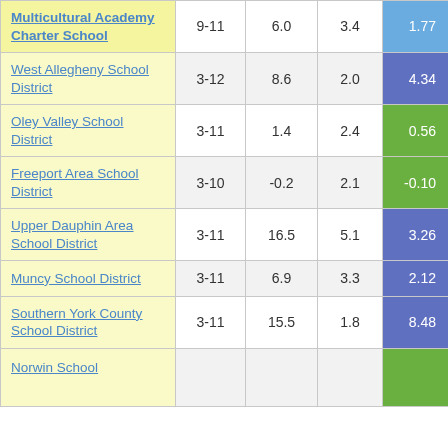| School | Grades | Col3 | Col4 | Value |
| --- | --- | --- | --- | --- |
| Multicultural Academy Charter School | 9-11 | 6.0 | 3.4 | 1.77 |
| West Allegheny School District | 3-12 | 8.6 | 2.0 | 4.34 |
| Oley Valley School District | 3-11 | 1.4 | 2.4 | 0.56 |
| Freeport Area School District | 3-10 | -0.2 | 2.1 | -0.10 |
| Upper Dauphin Area School District | 3-11 | 16.5 | 5.1 | 3.26 |
| Muncy School District | 3-11 | 6.9 | 3.3 | 2.12 |
| Southern York County School District | 3-11 | 15.5 | 1.8 | 8.48 |
| Norwin School ... |  |  |  |  |